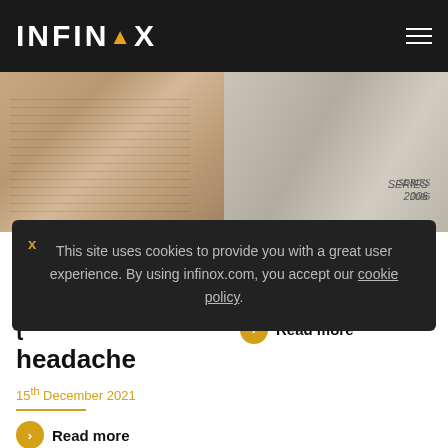INFINOX
[Figure (photo): Close-up of folded financial newspapers with stock tables visible]
[Figure (photo): Close-up of currency note or engraved illustration with 'SERIES 2006' text visible]
GBP hints at r... i... t... headache
Espresso
15th December 2021
15th December 2021
Read more
Read more
This site uses cookies to provide you with a great user experience. By using infinox.com, you accept our cookie policy.